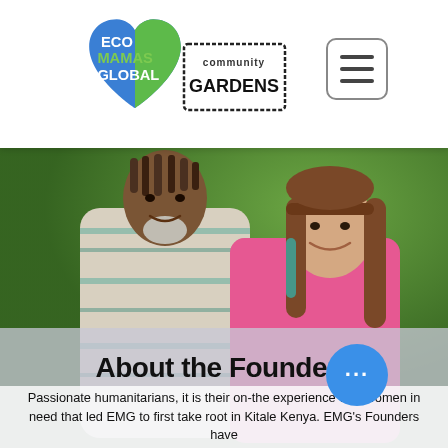[Figure (logo): Eco Mamas Global Community Gardens logo — heart shape with globe colors (blue and green) containing text 'ECO MAMAS GLOBAL', next to a stamp-style badge reading 'community GARDENS']
[Figure (photo): Two people smiling and posing together outdoors. On the left, a man with dreadlocks and a grey/white beard wearing a striped tunic. On the right, a woman with long brown hair wearing a bright pink shawl, both in front of green foliage.]
About the Founders
Passionate humanitarians, it is their on-the experience with women in need that led EMG to first take root in Kitale Kenya. EMG's Founders have